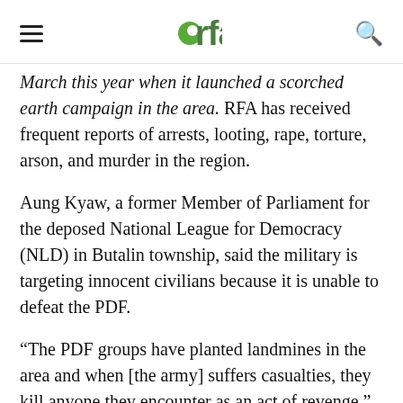rfa
March this year when it launched a scorched earth campaign in the area. RFA has received frequent reports of arrests, looting, rape, torture, arson, and murder in the region.
Aung Kyaw, a former Member of Parliament for the deposed National League for Democracy (NLD) in Butalin township, said the military is targeting innocent civilians because it is unable to defeat the PDF.
“The PDF groups have planted landmines in the area and when [the army] suffers casualties, they kill anyone they encounter as an act of revenge,” he said.
“The military has become a band of terrorists,